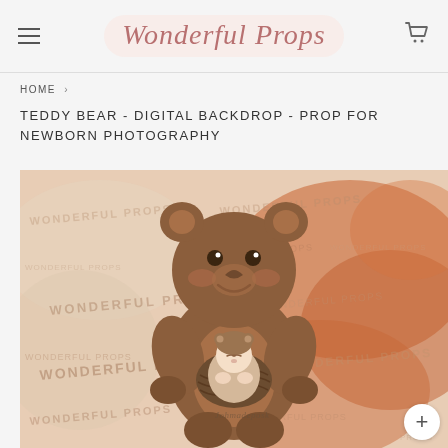Wonderful Props
HOME
TEDDY BEAR - DIGITAL BACKDROP - PROP FOR NEWBORN PHOTOGRAPHY
[Figure (illustration): Watercolor-style illustration of a smiling brown teddy bear holding a sleeping newborn baby wearing a bear bonnet hat. The background is a warm orange-red watercolor wash with repeated 'Wonderful Props' watermark text. A cursive signature/watermark appears at the bottom center.]